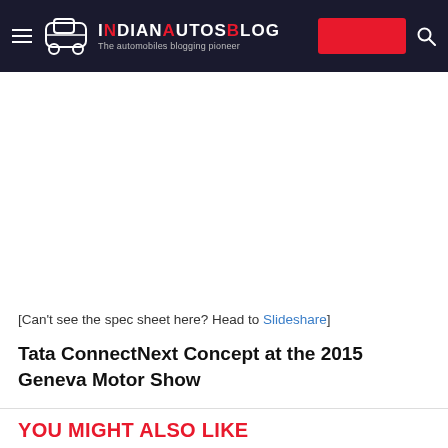IndianAutosBlog - The automobiles blogging pioneer
[Figure (other): Advertisement placeholder white space area]
[Can't see the spec sheet here? Head to Slideshare]
Tata ConnectNext Concept at the 2015 Geneva Motor Show
YOU MIGHT ALSO LIKE